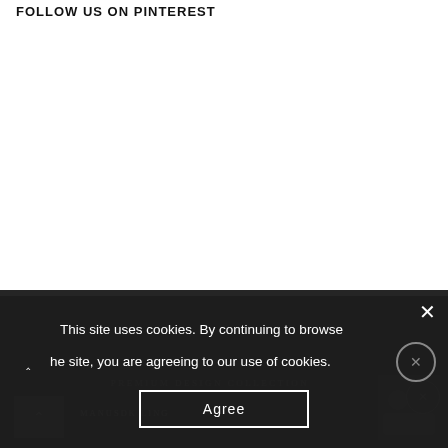FOLLOW US ON PINTEREST
This site uses cookies. By continuing to browse he site, you are agreeing to our use of cookies.
Agree
PREMIUM DESIGN COLLECTION
MANUSDK LING